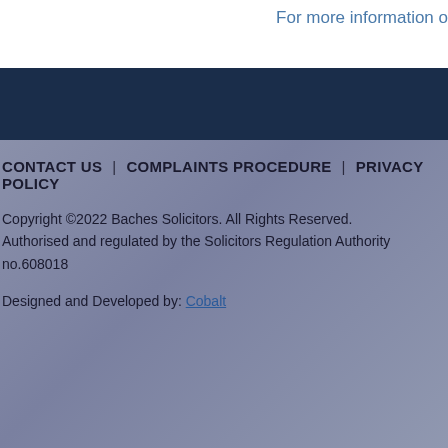For more information o
CONTACT US  |  COMPLAINTS PROCEDURE  |  PRIVACY POLICY
Copyright ©2022 Baches Solicitors. All Rights Reserved.
Authorised and regulated by the Solicitors Regulation Authority no.608018
Designed and Developed by: Cobalt